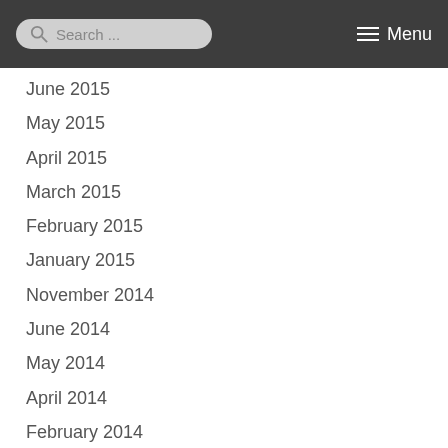Search ... Menu
June 2015
May 2015
April 2015
March 2015
February 2015
January 2015
November 2014
June 2014
May 2014
April 2014
February 2014
October 2013
September 2013
August 2013
July 2013
June 2013